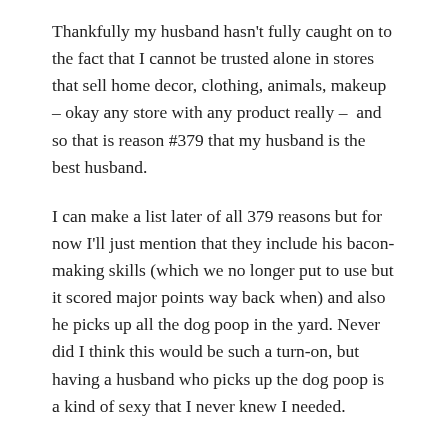Thankfully my husband hasn't fully caught on to the fact that I cannot be trusted alone in stores that sell home decor, clothing, animals, makeup – okay any store with any product really –  and so that is reason #379 that my husband is the best husband.
I can make a list later of all 379 reasons but for now I'll just mention that they include his bacon-making skills (which we no longer put to use but it scored major points way back when) and also he picks up all the dog poop in the yard. Never did I think this would be such a turn-on, but having a husband who picks up the dog poop is a kind of sexy that I never knew I needed.
After several more trips to acquire the “actual” necessities, we stood in the middle of our empty house, with no real clue of what to do next.